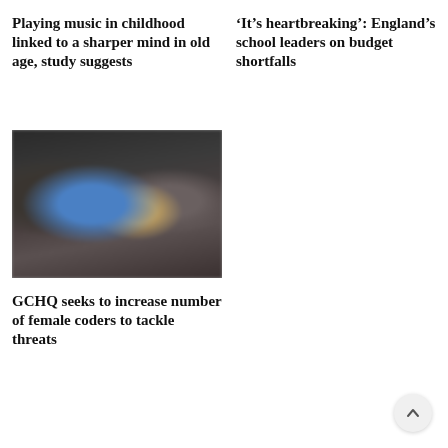Playing music in childhood linked to a sharper mind in old age, study suggests
‘It’s heartbreaking’: England’s school leaders on budget shortfalls
[Figure (photo): Blurred photo showing people working at computer workstations in a dark room with blue screens visible]
GCHQ seeks to increase number of female coders to tackle threats